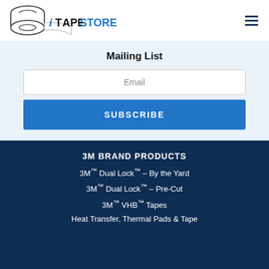[Figure (logo): iTapeStore logo with tape roll icon and text 'iTAPESTORE' in blue and black]
Mailing List
Email
SUBSCRIBE
3M BRAND PRODUCTS
3M™ Dual Lock™ - By the Yard
3M™ Dual Lock™ - Pre-Cut
3M™ VHB™ Tapes
Heat Transfer, Thermal Pads & Tape